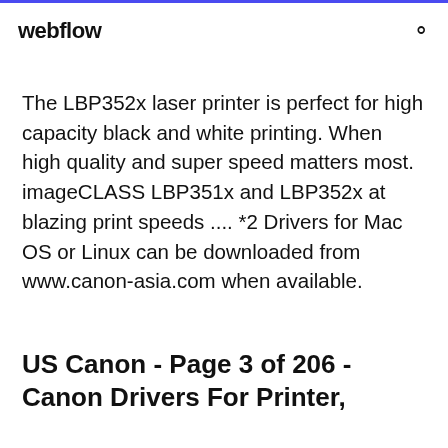webflow
The LBP352x laser printer is perfect for high capacity black and white printing. When high quality and super speed matters most. imageCLASS LBP351x and LBP352x at blazing print speeds .... *2 Drivers for Mac OS or Linux can be downloaded from www.canon-asia.com when available.
US Canon - Page 3 of 206 - Canon Drivers For Printer,